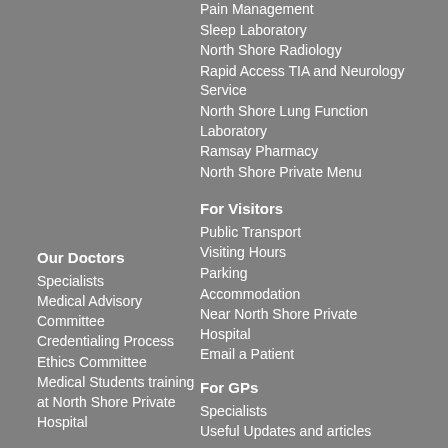Pain Management
Sleep Laboratory
North Shore Radiology
Rapid Access TIA and Neurology Service
North Shore Lung Function Laboratory
Ramsay Pharmacy
North Shore Private Menu
Our Doctors
Specialists
Medical Advisory Committee
Credentialing Process
Ethics Committee
Medical Students training at North Shore Private Hospital
For Visitors
Public Transport
Visiting Hours
Parking
Accommodation
Near North Shore Private Hospital
Email a Patient
For GPs
Specialists
Useful Updates and articles